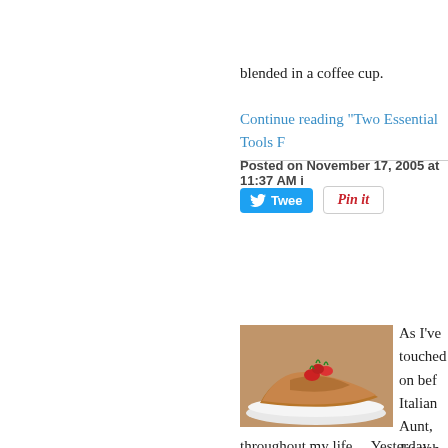blended in a coffee cup.
Continue reading "Two Essential Tools F…"
Posted on November 17, 2005 at 11:37 AM in
[Figure (screenshot): Tweet button (Twitter/X blue button) and Pin it button (Pinterest)]
[Figure (photo): A food photo showing what appears to be a blintz or crepe with strawberries on a white plate]
As I've touched on bef… Italian Aunt, Jewish Un… Although we never mix… there were times when… eaten by different peo… throughout my life.   Yesterday when the… was draped in a hard light and a piercing…
Blintzes were not a common occurrence… whether they were Jewish deli-style plac… Forest Hills.  They were a dish that I ofte… and not up to fighting the temptations of … dessert rolled around I was always full.  … order them and I would be able to snag a… while they were still piping hot and crispy…